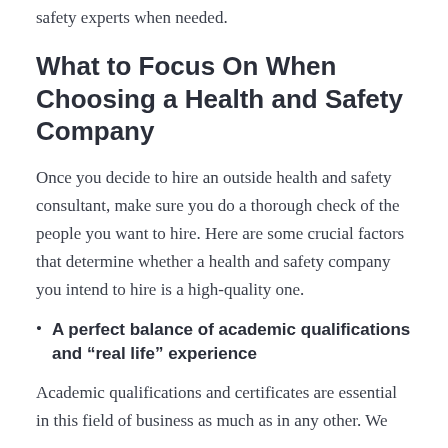engaging objective, professional, and experienced safety experts when needed.
What to Focus On When Choosing a Health and Safety Company
Once you decide to hire an outside health and safety consultant, make sure you do a thorough check of the people you want to hire. Here are some crucial factors that determine whether a health and safety company you intend to hire is a high-quality one.
A perfect balance of academic qualifications and “real life” experience
Academic qualifications and certificates are essential in this field of business as much as in any other. We